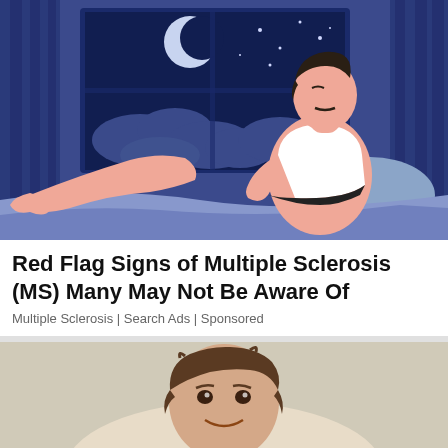[Figure (illustration): Illustration of a man in a white tank top sitting up in bed at night, leg raised, appearing restless. Dark blue background with a window showing a crescent moon and clouds.]
Red Flag Signs of Multiple Sclerosis (MS) Many May Not Be Aware Of
Multiple Sclerosis | Search Ads | Sponsored
[Figure (photo): A smiling man with curly hair wearing a light-colored shirt, partially visible at bottom of page.]